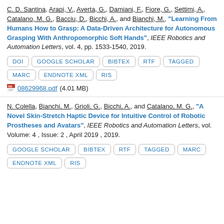C. D. Santina, Arapi, V., Averta, G., Damiani, F., Fiore, G., Settimi, A., Catalano, M. G., Bacciu, D., Bicchi, A., and Bianchi, M., "Learning From Humans How to Grasp: A Data-Driven Architecture for Autonomous Grasping With Anthropomorphic Soft Hands", IEEE Robotics and Automation Letters, vol. 4, pp. 1533-1540, 2019.
DOI | GOOGLE SCHOLAR | BIBTEX | RTF | TAGGED | MARC | ENDNOTE XML | RIS
08629968.pdf (4.01 MB)
N. Colella, Bianchi, M., Grioli, G., Bicchi, A., and Catalano, M. G., "A Novel Skin-Stretch Haptic Device for Intuitive Control of Robotic Prostheses and Avatars", IEEE Robotics and Automation Letters, vol. Volume: 4 , Issue: 2 , April 2019 , 2019.
GOOGLE SCHOLAR | BIBTEX | RTF | TAGGED | MARC | ENDNOTE XML | RIS